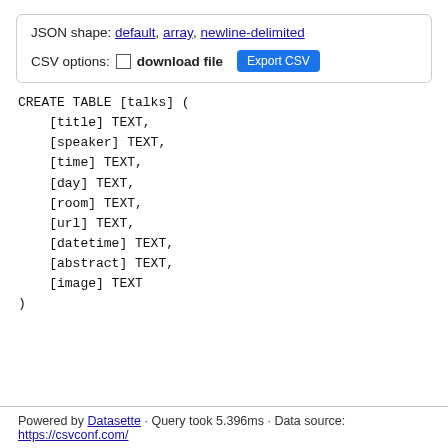JSON shape: default, array, newline-delimited
CSV options: □ download file  Export CSV
Powered by Datasette · Query took 5.396ms · Data source: https://csvconf.com/